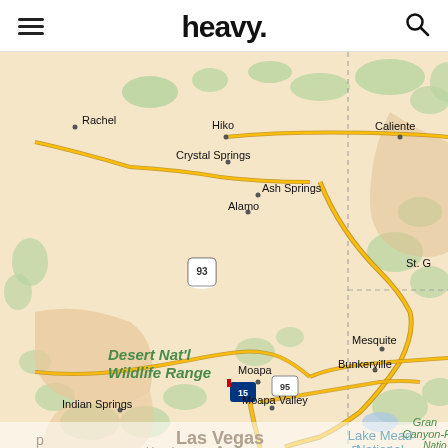heavy.
[Figure (map): Google Maps view of southern Nevada showing locations including Rachel, Hiko, Caliente, Crystal Springs, Ash Springs, Alamo, Desert Nat'l Wildlife Range, Mesquite, Bunkerville, Moapa, Moapa Valley, Indian Springs, Las Vegas, Lake Mead National Recreation, Grand Canyon-Parashant National Monument, with route 93, 15, and 95 visible.]